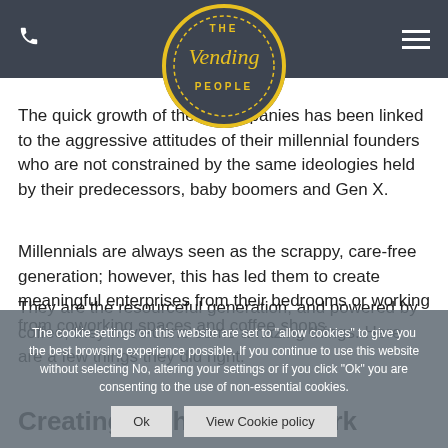The Vending People
The quick growth of these companies has been linked to the aggressive attitudes of their millennial founders who are not constrained by the same ideologies held by their predecessors, baby boomers and Gen X.
Millennials are always seen as the scrappy, care-free generation; however, this has led them to create meaningful enterprises from their bedrooms or working from coworking spaces and coffee shops.
They are the resource-ful generation, and powered by coffee, they have done some amazing things. Here are a few things they did right.
The cookie settings on this website are set to "allow cookies" to give you the best browsing experience possible. If you continue to use this website without selecting No, altering your settings or if you click "Ok" you are consenting to the use of non-essential cookies.
Creating High-Energy Work